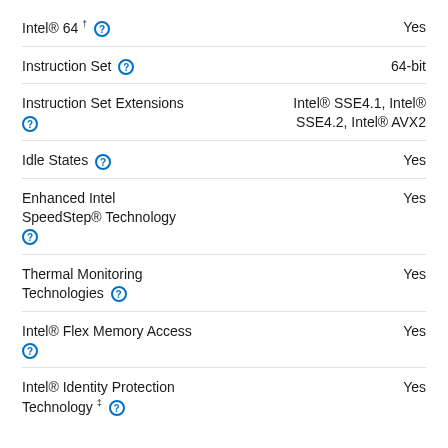Intel® 64 † [?]  Yes
Instruction Set [?]  64-bit
Instruction Set Extensions [?]  Intel® SSE4.1, Intel® SSE4.2, Intel® AVX2
Idle States [?]  Yes
Enhanced Intel SpeedStep® Technology [?]  Yes
Thermal Monitoring Technologies [?]  Yes
Intel® Flex Memory Access [?]  Yes
Intel® Identity Protection Technology ‡ [?]  Yes